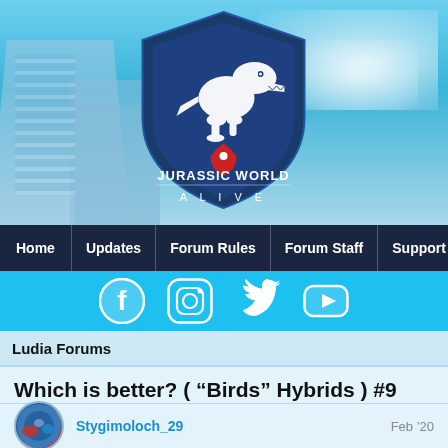[Figure (screenshot): Jurassic World Alive logo with shield shape, dinosaur silhouette, and red location pin. Blue sky and building background.]
[Figure (screenshot): Navigation bar with items: Home, Updates, Forum Rules, Forum Staff, Support on dark navy background.]
[Figure (screenshot): Social media icons bar (Facebook, Instagram, Twitter, YouTube) on bright blue background.]
Ludia Forums
Which is better? ( “Birds” Hybrids ) #9
Jurassic World Alive   General Discussion
Stygimoloch_29   Feb ’20